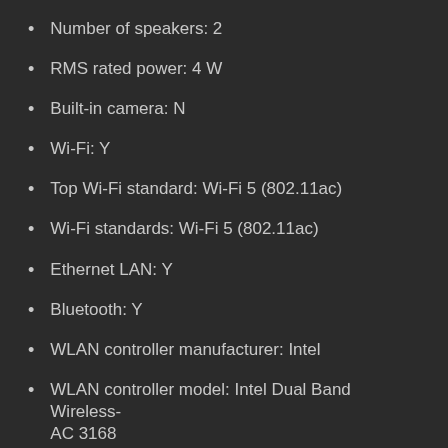Number of speakers: 2
RMS rated power: 4 W
Built-in camera: N
Wi-Fi: Y
Top Wi-Fi standard: Wi-Fi 5 (802.11ac)
Wi-Fi standards: Wi-Fi 5 (802.11ac)
Ethernet LAN: Y
Bluetooth: Y
WLAN controller manufacturer: Intel
WLAN controller model: Intel Dual Band Wireless-AC 3168